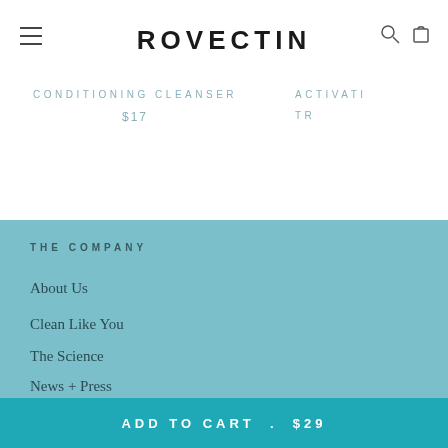ROVECTIN
CONDITIONING CLEANSER
$17
ACTIVATI TR
THE COMPANY
About Us
Clean Like You
The Science
News + Press
ADD TO CART . $29